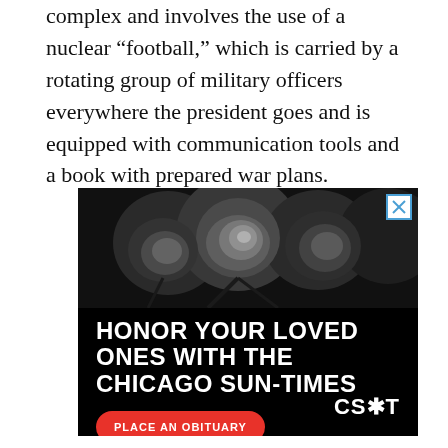complex and involves the use of a nuclear “football,” which is carried by a rotating group of military officers everywhere the president goes and is equipped with communication tools and a book with prepared war plans.
[Figure (infographic): Advertisement for Chicago Sun-Times obituaries. Black and white photo of roses in background. Text reads: HONOR YOUR LOVED ONES WITH THE CHICAGO SUN-TIMES. Red button: PLACE AN OBITUARY. Logo: CS*T]